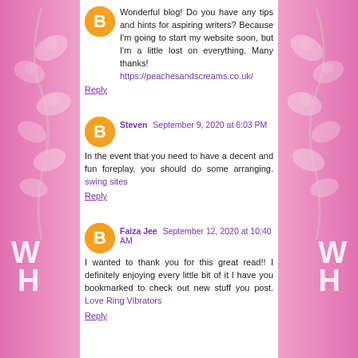Wonderful blog! Do you have any tips and hints for aspiring writers? Because I'm going to start my website soon, but I'm a little lost on everything. Many thanks! https://peachesandscreams.co.uk/
Reply
Steven  September 9, 2020 at 6:03 PM
In the event that you need to have a decent and fun foreplay, you should do some arranging. swing sites
Reply
Faiza Jee  September 12, 2020 at 10:40 AM
I wanted to thank you for this great read!! I definitely enjoying every little bit of it I have you bookmarked to check out new stuff you post. Love Ring Vibrators
Reply